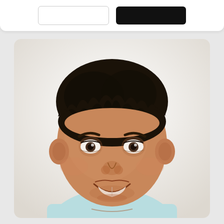[Figure (photo): Top UI bar with two buttons: an outline button and a filled black button]
[Figure (photo): Portrait photo of a young smiling boy with dark short hair, brown eyes, and a light blue t-shirt, photographed against a light/white background]